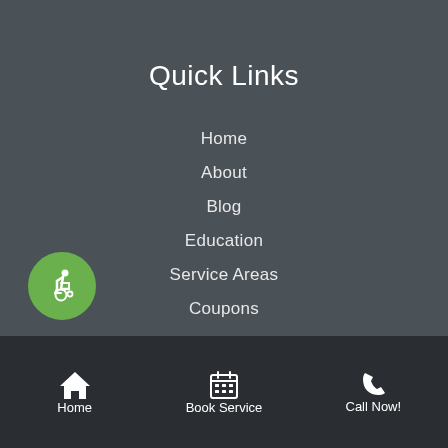Quick Links
Home
About
Blog
Education
Service Areas
Coupons
Reviews
Contact Us
Products
Sitemap
[Figure (illustration): Wheelchair accessibility icon — white wheelchair user symbol on green circle]
Home | Book Service | Call Now!